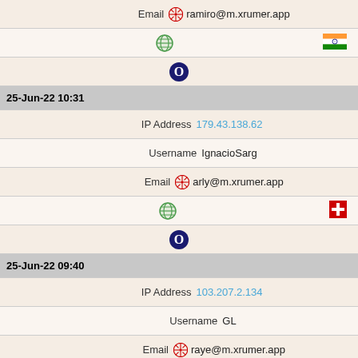Email ☣ ramiro@m.xrumer.app
[globe icon] [India flag]
[Opera icon]
25-Jun-22 10:31
IP Address 179.43.138.62
Username IgnacioSarg
Email ☣ arly@m.xrumer.app
[globe icon] [Switzerland flag]
[Opera icon]
25-Jun-22 09:40
IP Address 103.207.2.134
Username GL
Email ☣ raye@m.xrumer.app
[globe icon] [India flag]
[Opera icon]
25-Jun-22 08:29
IP Address 103.207.2.134